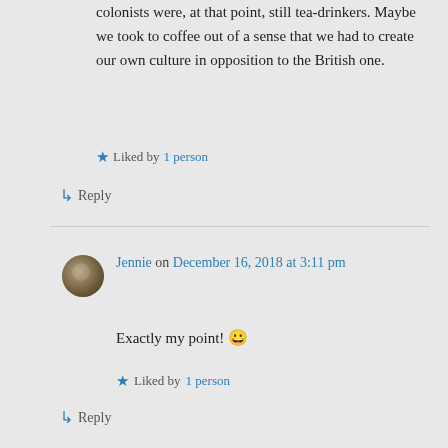colonists were, at that point, still tea-drinkers. Maybe we took to coffee out of a sense that we had to create our own culture in opposition to the British one.
★ Liked by 1 person
↳ Reply
Jennie on December 16, 2018 at 3:11 pm
Exactly my point! 😀
★ Liked by 1 person
↳ Reply